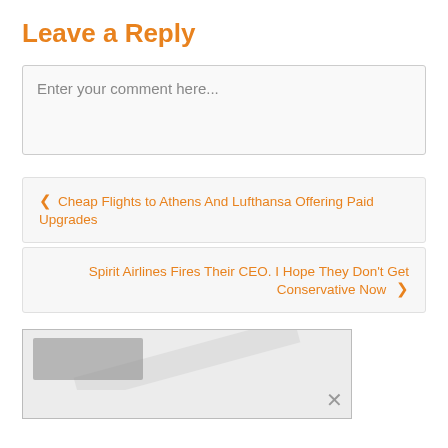Leave a Reply
Enter your comment here...
< Cheap Flights to Athens And Lufthansa Offering Paid Upgrades
Spirit Airlines Fires Their CEO. I Hope They Don't Get Conservative Now >
[Figure (other): Advertisement or widget area with a blurred logo, partially visible content, and a close (×) button]